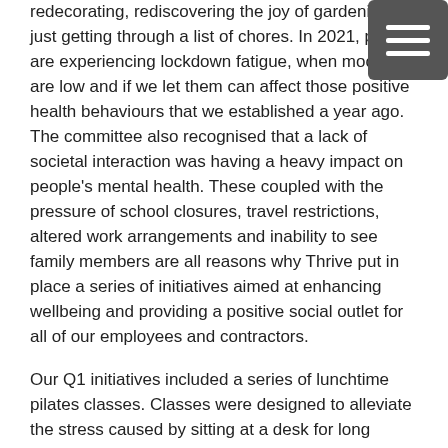redecorating, rediscovering the joy of gardening or just getting through a list of chores. In 2021, people are experiencing lockdown fatigue, when moods are low and if we let them can affect those positive health behaviours that we established a year ago.  The committee also recognised that a lack of societal interaction was having a heavy impact on people's mental health. These coupled with the pressure of school closures, travel restrictions, altered work arrangements and inability to see family members are all reasons why Thrive put in place a series of initiatives aimed at enhancing wellbeing and providing a positive social outlet for all of our employees and contractors.
Our Q1 initiatives included a series of lunchtime pilates classes. Classes were designed to alleviate the stress caused by sitting at a desk for long periods of time. Introducing simple stretches that could be utilized at any time during the workday to ease tension and reinvigorate.
The committee has run informative lunch and learn sessions on nutrition and resilience. In January we welcomed Marc Murphy, a nutritional therapist, lecturer and clinic supervisor with the College of Naturopathic Medicine in Cork. Marc demonstrated healthy